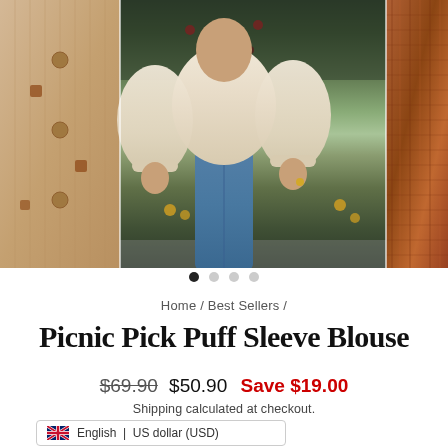[Figure (photo): Product image carousel showing three clothing items: left panel shows a tan/beige fabric garment with embroidery, center panel shows a model wearing a cream puff sleeve blouse with blue jeans, right panel partially shows a rust/terracotta knit garment. Four navigation dots below the carousel.]
Home / Best Sellers /
Picnic Pick Puff Sleeve Blouse
$69.90  $50.90  Save $19.00
Shipping calculated at checkout.
🇬🇧 English | US dollar (USD)